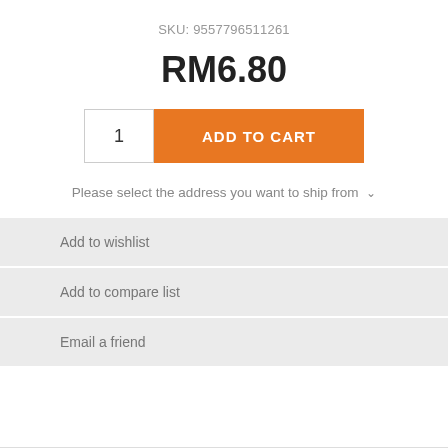SKU: 9557796511261
RM6.80
1  ADD TO CART
Please select the address you want to ship from ∨
Add to wishlist
Add to compare list
Email a friend